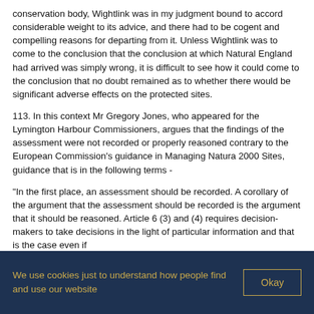conservation body, Wightlink was in my judgment bound to accord considerable weight to its advice, and there had to be cogent and compelling reasons for departing from it. Unless Wightlink was to come to the conclusion that the conclusion at which Natural England had arrived was simply wrong, it is difficult to see how it could come to the conclusion that no doubt remained as to whether there would be significant adverse effects on the protected sites.
113. In this context Mr Gregory Jones, who appeared for the Lymington Harbour Commissioners, argues that the findings of the assessment were not recorded or properly reasoned contrary to the European Commission's guidance in Managing Natura 2000 Sites, guidance that is in the following terms -
"In the first place, an assessment should be recorded. A corollary of the argument that the assessment should be recorded is the argument that it should be reasoned. Article 6 (3) and (4) requires decision-makers to take decisions in the light of particular information and that is the case even if
We use cookies just to understand how people find and use our website
Okay